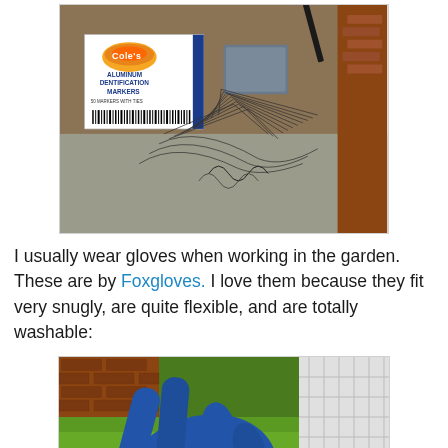[Figure (photo): Photo of a Cole's Aluminum Identification Markers box with metal stakes/wires scattered on the ground, and a metal tool visible]
I usually wear gloves when working in the garden. These are by Foxgloves. I love them because they fit very snugly, are quite flexible, and are totally washable:
[Figure (photo): Close-up photo of blue garden gloves being worn outdoors on grass with a fence in the background]